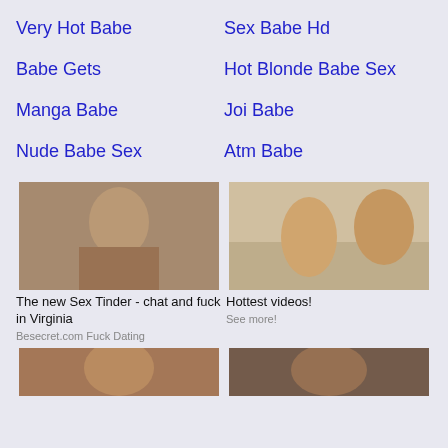Very Hot Babe
Sex Babe Hd
Babe Gets
Hot Blonde Babe Sex
Manga Babe
Joi Babe
Nude Babe Sex
Atm Babe
[Figure (photo): Woman taking a selfie]
The new Sex Tinder - chat and fuck in Virginia
Besecret.com Fuck Dating
[Figure (photo): Two women in a bathroom scene]
Hottest videos!
See more!
[Figure (photo): Partial image at bottom left]
[Figure (photo): Partial image at bottom right]